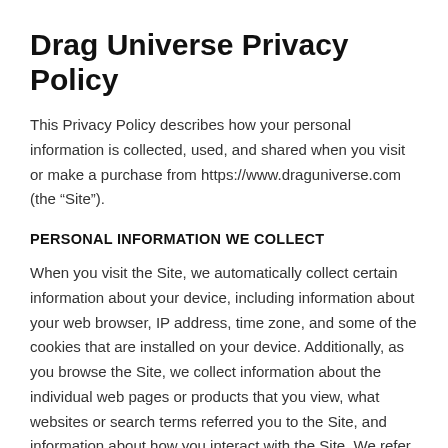Drag Universe Privacy Policy
This Privacy Policy describes how your personal information is collected, used, and shared when you visit or make a purchase from https://www.draguniverse.com (the “Site”).
PERSONAL INFORMATION WE COLLECT
When you visit the Site, we automatically collect certain information about your device, including information about your web browser, IP address, time zone, and some of the cookies that are installed on your device. Additionally, as you browse the Site, we collect information about the individual web pages or products that you view, what websites or search terms referred you to the Site, and information about how you interact with the Site. We refer to this automatically-collected information as “Device